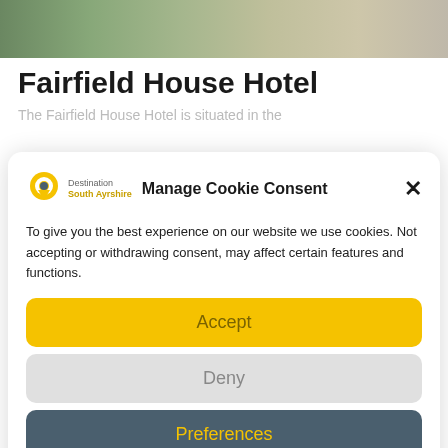[Figure (photo): Outdoor photo strip showing greenery and building exterior at the top of the page]
Fairfield House Hotel
The Fairfield House Hotel is situated in the
Manage Cookie Consent
To give you the best experience on our website we use cookies. Not accepting or withdrawing consent, may affect certain features and functions.
Accept
Deny
Preferences
Cookie Policy   Privacy Policy